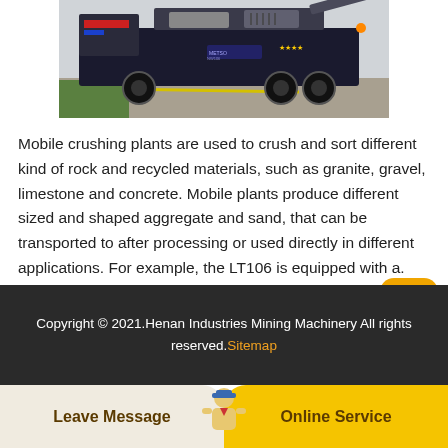[Figure (photo): Mobile crushing plant / construction vehicle on a road, partially visible from front-right angle, showing wheels and processing equipment on a trailer.]
Mobile crushing plants are used to crush and sort different kind of rock and recycled materials, such as granite, gravel, limestone and concrete. Mobile plants produce different sized and shaped aggregate and sand, that can be transported to after processing or used directly in different applications. For example, the LT106 is equipped with a.
Copyright © 2021.Henan Industries Mining Machinery All rights reserved. Sitemap